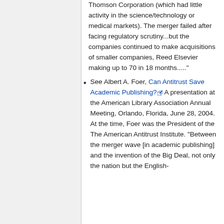Thomson Corporation (which had little activity in the science/technology or medical markets). The merger failed after facing regulatory scrutiny...but the companies continued to make acquisitions of smaller companies, Reed Elsevier making up to 70 in 18 months....."'
See Albert A. Foer, Can Antitrust Save Academic Publishing? A presentation at the American Library Association Annual Meeting, Orlando, Florida, June 28, 2004. At the time, Foer was the President of the The American Antitrust Institute. "Between the merger wave [in academic publishing] and the invention of the Big Deal, not only the nation but the English-